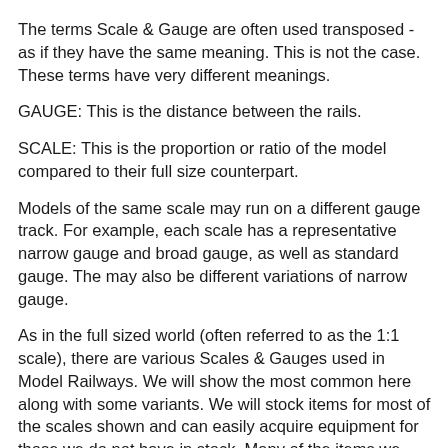The terms Scale & Gauge are often used transposed - as if they have the same meaning.  This is not the case.  These terms have very different meanings.
GAUGE: This is the distance between the rails.
SCALE: This is the proportion or ratio of the model compared to their full size counterpart.
Models of the same scale may run on a different gauge track. For example, each scale has a representative narrow gauge and broad gauge, as well as standard gauge.  The may also be different variations of narrow gauge.
As in the full sized world (often referred to as the 1:1 scale), there are various Scales & Gauges used in Model Railways.  We will show the most common here along with some variants. We will stock items for most of the scales shown and can easily acquire equipment for those we do not have in stock.  Many of the items we stock are not made for a specific scale and are therefore available to "All